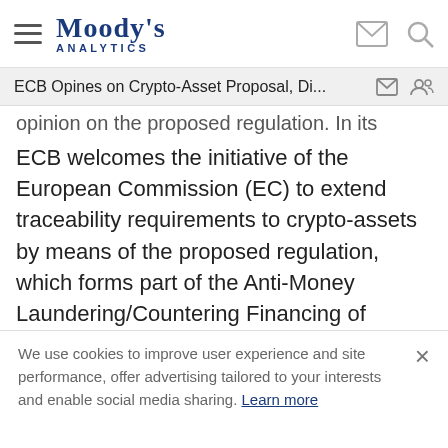Moody's Analytics
ECB Opines on Crypto-Asset Proposal, Di...
opinion on the proposed regulation. In its opinion, ECB welcomes the initiative of the European Commission (EC) to extend traceability requirements to crypto-assets by means of the proposed regulation, which forms part of the Anti-Money Laundering/Countering Financing of Terrorism (AML/CFT) package adopted by EC in July 2020. ECB also welcomes the proposed regulation as a means of levelling the playing field for crypto-asset service providers
We use cookies to improve user experience and site performance, offer advertising tailored to your interests and enable social media sharing. Learn more